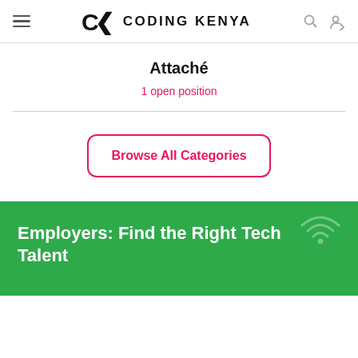Coding Kenya
Attaché
1 open position
Browse All Categories
Employers: Find the Right Tech Talent